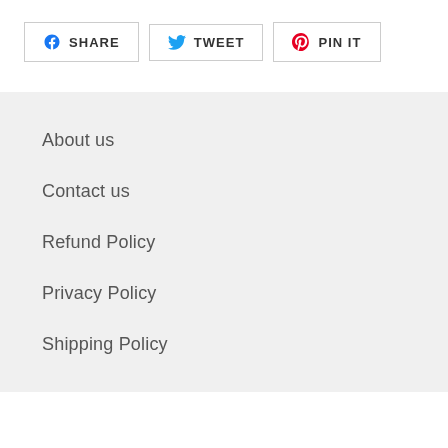[Figure (other): Social share buttons: Facebook SHARE, Twitter TWEET, Pinterest PIN IT]
About us
Contact us
Refund Policy
Privacy Policy
Shipping Policy